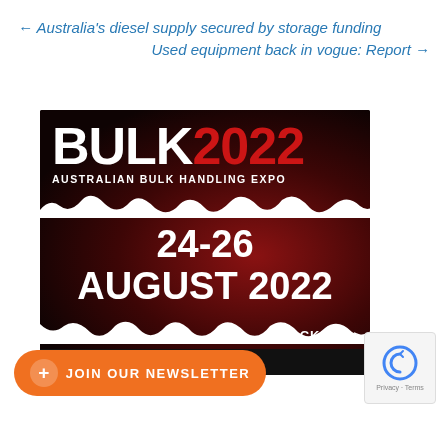← Australia's diesel supply secured by storage funding
Used equipment back in vogue: Report →
[Figure (illustration): BULK 2022 Australian Bulk Handling Expo advertisement banner with red and dark background, showing event dates 24-26 August 2022 and a TICKETS button, with SAP branding at bottom]
+ JOIN OUR NEWSLETTER